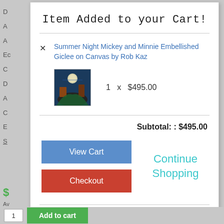Item Added to your Cart!
Summer Night Mickey and Minnie Embellished Giclee on Canvas by Rob Kaz
1 x $495.00
Subtotal: : $495.00
View Cart
Continue Shopping
Checkout
Add to cart